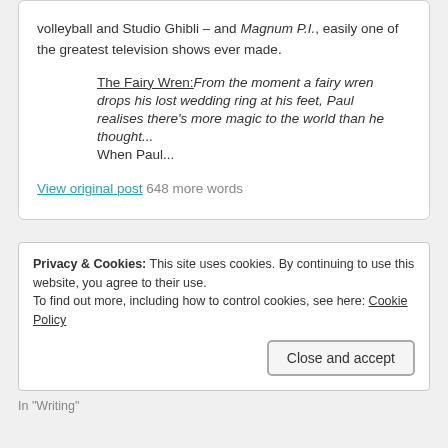volleyball and Studio Ghibli – and Magnum P.I., easily one of the greatest television shows ever made.
The Fairy Wren: From the moment a fairy wren drops his lost wedding ring at his feet, Paul realises there's more magic to the world than he thought... When Paul...
View original post 648 more words
Privacy & Cookies: This site uses cookies. By continuing to use this website, you agree to their use. To find out more, including how to control cookies, see here: Cookie Policy
Close and accept
In "Writing"